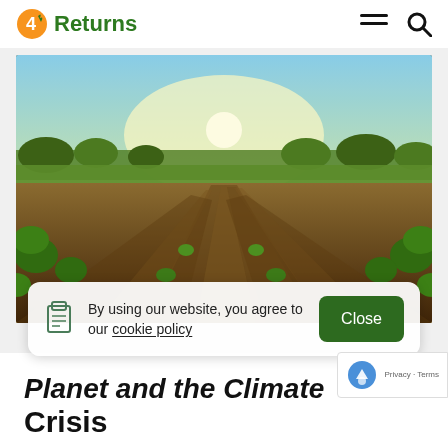4 Returns
[Figure (photo): Agricultural field photo showing rows of young plants growing in dark brown soil, taken from a low angle with sunlight in the background and trees on the horizon.]
By using our website, you agree to our cookie policy   Close
Planet and the Climate Crisis